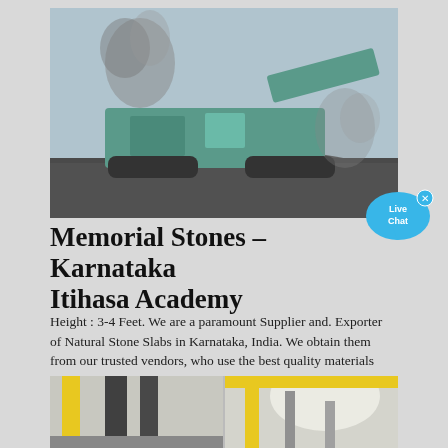[Figure (photo): A large green mobile stone crusher/mining machine operating on a gravel pile, with black smoke rising in a dusty outdoor setting.]
[Figure (infographic): Live Chat speech bubble icon in cyan/blue color with an X close button in the top right corner, and the text 'Live Chat' inside.]
Memorial Stones – Karnataka Itihasa Academy
Height : 3-4 Feet. We are a paramount Supplier and. Exporter of Natural Stone Slabs in Karnataka, India. We obtain them from our trusted vendors, who use the best quality materials and updated techniques for crafting them. Under this range, we offer a wide …
Dapatkan harganya
[Figure (photo): Bottom strip showing two industrial/factory interior photos side by side: left image shows steel structural columns in a workshop, right image shows a bright industrial space with yellow crane beams.]